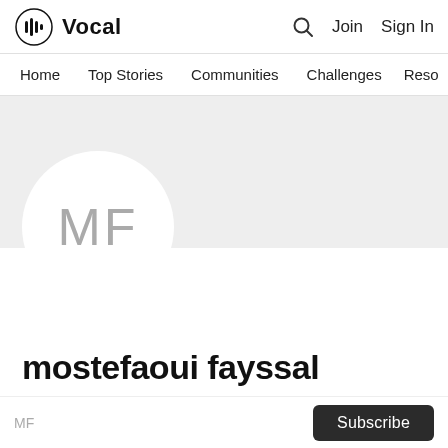Vocal  Search  Join  Sign In
Home  Top Stories  Communities  Challenges  Reso
[Figure (illustration): Profile avatar placeholder circle with initials MF on a grey banner background]
mostefaoui fayssal
MF
Subscribe